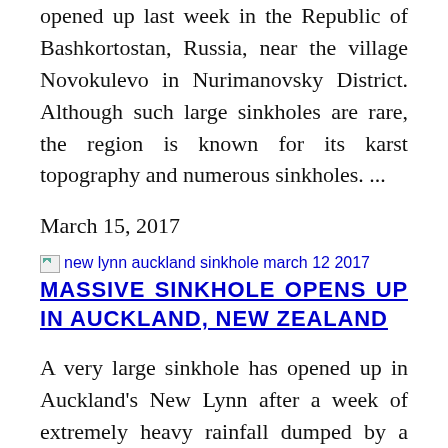opened up last week in the Republic of Bashkortostan, Russia, near the village Novokulevo in Nurimanovsky District. Although such large sinkholes are rare, the region is known for its karst topography and numerous sinkholes. ...
March 15, 2017
[Figure (other): Broken image placeholder with alt text: new lynn auckland sinkhole march 12 2017]
MASSIVE SINKHOLE OPENS UP IN AUCKLAND, NEW ZEALAND
A very large sinkhole has opened up in Auckland's New Lynn after a week of extremely heavy rainfall dumped by a powerful storm centered over the Tasman Sea. The structure of